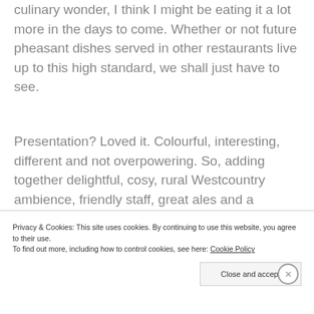culinary wonder, I think I might be eating it a lot more in the days to come. Whether or not future pheasant dishes served in other restaurants live up to this high standard, we shall just have to see.
Presentation? Loved it. Colourful, interesting, different and not overpowering. So, adding together delightful, cosy, rural Westcountry ambience, friendly staff, great ales and a
Privacy & Cookies: This site uses cookies. By continuing to use this website, you agree to their use.
To find out more, including how to control cookies, see here: Cookie Policy
Close and accept